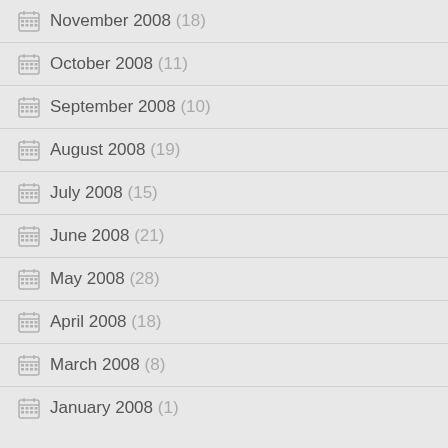November 2008 (18)
October 2008 (11)
September 2008 (10)
August 2008 (19)
July 2008 (15)
June 2008 (21)
May 2008 (28)
April 2008 (18)
March 2008 (8)
January 2008 (1)